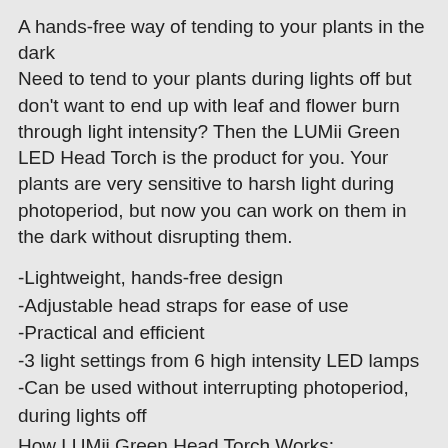A hands-free way of tending to your plants in the dark
Need to tend to your plants during lights off but don't want to end up with leaf and flower burn through light intensity? Then the LUMii Green LED Head Torch is the product for you. Your plants are very sensitive to harsh light during photoperiod, but now you can work on them in the dark without disrupting them.
-Lightweight, hands-free design
-Adjustable head straps for ease of use
-Practical and efficient
-3 light settings from 6 high intensity LED lamps
-Can be used without interrupting photoperiod, during lights off
How LUMii Green Head Torch Works:
This head torch works by using green LED bulbs that work within a certain light spectrum that doesn't interrupt the necessary photoperiod your plants need to grow. It has 3 different light settings – full, partial, strobe – which means it's fully adjustable to suit your